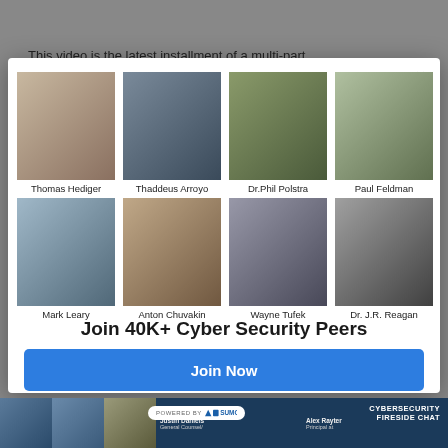This video is the latest installment of a multi-part
[Figure (screenshot): Modal popup with 8 cybersecurity expert profile photos in a 4x2 grid, each with name below. Experts: Thomas Hediger, Thaddeus Arroyo, Dr.Phil Polstra, Paul Feldman (top row); Mark Leary, Anton Chuvakin, Wayne Tufek, Dr. J.R. Reagan (bottom row). Below grid: 'Join 40K+ Cyber Security Peers' heading and 'Join Now' blue button.]
[Figure (screenshot): Bottom of page showing a cybersecurity fireside chat thumbnail with Justin Daniels General Counsel, Alex Rayter Principal at, and a third person. 'POWERED BY SUMO' badge. 'CYBERSECURITY FIRESIDE CHAT' text on right side.]